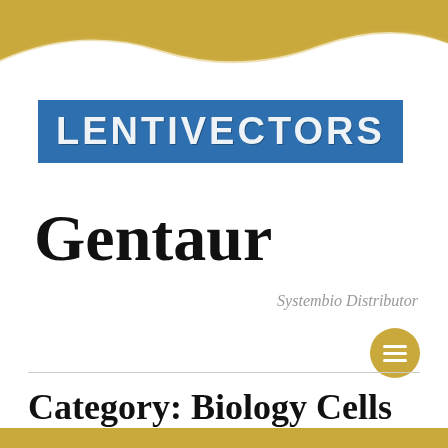[Figure (illustration): Gold and white decorative wave banner at the top of the page]
[Figure (logo): LENTIVECTORS logo in white distressed text on blue rectangle background]
Gentaur
Systembio Distributor
[Figure (other): Gold circular menu/hamburger icon button]
Category: Biology Cells